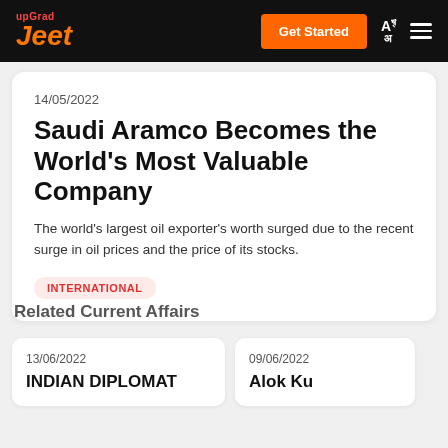upGrad Jeet — Get Started
14/05/2022
Saudi Aramco Becomes the World's Most Valuable Company
The world's largest oil exporter's worth surged due to the recent surge in oil prices and the price of its stocks.
INTERNATIONAL
Related Current Affairs
13/06/2022
INDIAN DIPLOMAT
09/06/2022
Alok Ku